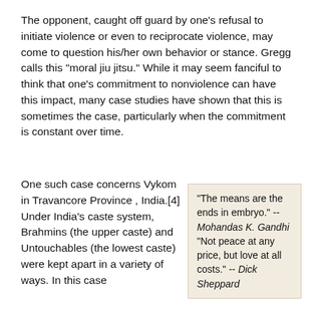The opponent, caught off guard by one's refusal to initiate violence or even to reciprocate violence, may come to question his/her own behavior or stance. Gregg calls this "moral jiu jitsu." While it may seem fanciful to think that one's commitment to nonviolence can have this impact, many case studies have shown that this is sometimes the case, particularly when the commitment is constant over time.
One such case concerns Vykom in Travancore Province , India.[4] Under India's caste system, Brahmins (the upper caste) and Untouchables (the lowest caste) were kept apart in a variety of ways. In this case
"The means are the ends in embryo." -- Mohandas K. Gandhi
"Not peace at any price, but love at all costs." -- Dick Sheppard